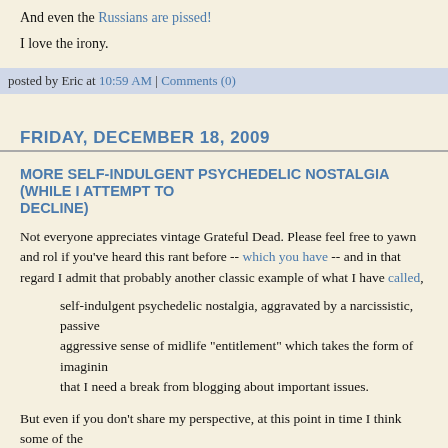And even the Russians are pissed!
I love the irony.
posted by Eric at 10:59 AM | Comments (0)
FRIDAY, DECEMBER 18, 2009
MORE SELF-INDULGENT PSYCHEDELIC NOSTALGIA (WHILE I ATTEMPT TO DECLINE)
Not everyone appreciates vintage Grateful Dead. Please feel free to yawn and roll your eyes if you've heard this rant before -- which you have -- and in that regard I admit that this is probably another classic example of what I have called,
self-indulgent psychedelic nostalgia, aggravated by a narcissistic, passive aggressive sense of midlife "entitlement" which takes the form of imagining that I need a break from blogging about important issues.
But even if you don't share my perspective, at this point in time I think some of the qualifies as historic in nature, especially any video containing actual footage of Pigpen, the band's original "leader" (leader is in quotes out of respect for the obvious anarchistic nature as well as for Pigpen, who might have resented being charged with "leadership"). There's damned little decent footage of the guy, who died in 1973, and what little there is seems to be yanked from YouTube whenever it appears, so naturally I am always on the lookout. Amazingly, every once in a while new vintage video will actually appear amidst the sea of pretend video, and this one I have to say is the best Pigpen video I have found so far. It's from the Spring of 71, and they looked exactly as I remember them from that period, when I first became a bona fide Deadhead. Things were very casual and anyone could